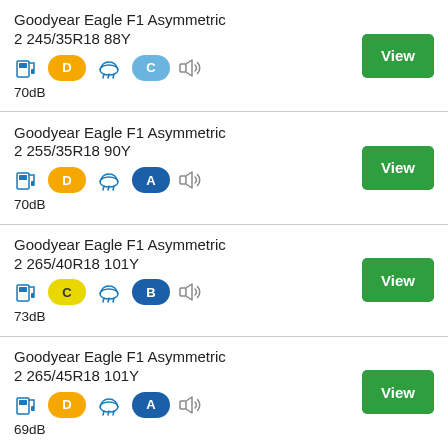Goodyear Eagle F1 Asymmetric 2 245/35R18 88Y — Fuel: D, Wet: C, 70dB
Goodyear Eagle F1 Asymmetric 2 255/35R18 90Y — Fuel: D, Wet: A, 70dB
Goodyear Eagle F1 Asymmetric 2 265/40R18 101Y — Fuel: C, Wet: B, 73dB
Goodyear Eagle F1 Asymmetric 2 265/45R18 101Y — Fuel: D, Wet: A, 69dB